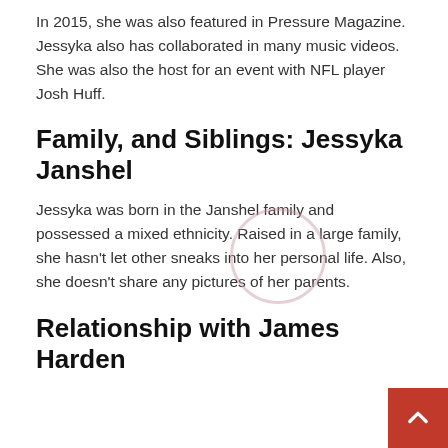In 2015, she was also featured in Pressure Magazine. Jessyka also has collaborated in many music videos. She was also the host for an event with NFL player Josh Huff.
Family, and Siblings: Jessyka Janshel
Jessyka was born in the Janshel family and possessed a mixed ethnicity. Raised in a large family, she hasn't let other sneaks into her personal life. Also, she doesn't share any pictures of her parents.
Relationship with James Harden